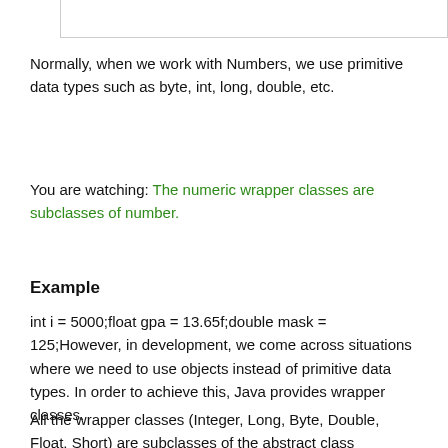[Figure (screenshot): Partial code box / bordered rectangle at top of page]
Normally, when we work with Numbers, we use primitive data types such as byte, int, long, double, etc.
You are watching: The numeric wrapper classes are subclasses of number.
Example
int i = 5000;float gpa = 13.65f;double mask = 125;However, in development, we come across situations where we need to use objects instead of primitive data types. In order to achieve this, Java provides wrapper classes.
All the wrapper classes (Integer, Long, Byte, Double, Float, Short) are subclasses of the abstract class